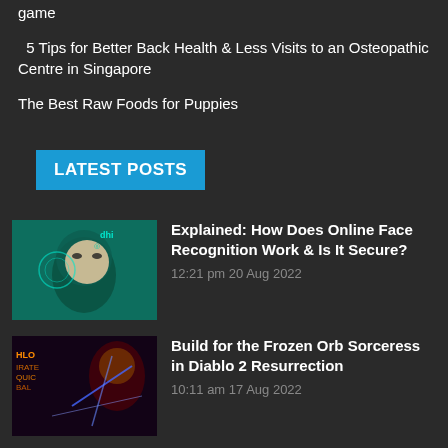game
5 Tips for Better Back Health & Less Visits to an Osteopathic Centre in Singapore
The Best Raw Foods for Puppies
LATEST POSTS
[Figure (photo): Thumbnail image of a woman's face with digital face recognition overlay on teal/green background]
Explained: How Does Online Face Recognition Work & Is It Secure?
12:21 pm 20 Aug 2022
[Figure (photo): Thumbnail image from Diablo 2 game with dark fantasy art, lightning effects]
Build for the Frozen Orb Sorceress in Diablo 2 Resurrection
10:11 am 17 Aug 2022
[Figure (photo): Thumbnail image from NBA 2K22 basketball game]
Participate in the Wheel of Impossible Trades Rebuilding Challenge in NBA 2K22 if you have the game